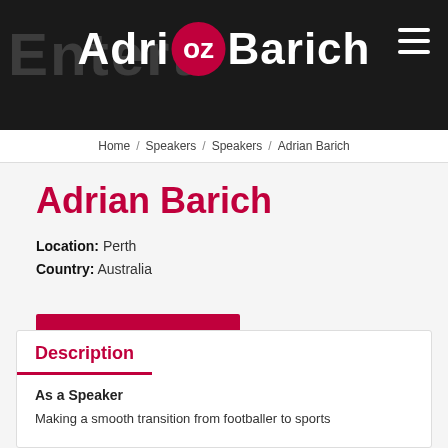[Figure (screenshot): Website header with dark background, 'EntertainOz' logo with red circle around 'oz', and hamburger menu icon]
Home / Speakers / Speakers / Adrian Barich
Adrian Barich
Location: Perth
Country: Australia
Request a Quote
Description
As a Speaker
Making a smooth transition from footballer to sports